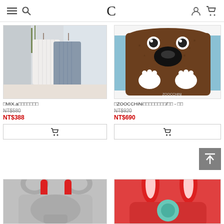≡  🔍  C  👤  🛒
[Figure (photo): Two ribbed knit tank tops (white and blue-gray) on hangers in a light interior setting]
□MIX.a□□□□□□□
NT$580
NT$388
[Figure (photo): ZOOCCHiNi bear-face childrens bag/backpack in brown with paw prints]
□ZOOCCHiNi□□□□□□□□/□□ - □□
NT$920
NT$690
[Figure (photo): Gray bear-face childrens backpack with red handles, partially visible at bottom]
[Figure (photo): Red rabbit-face childrens bag with long ears, partially visible at bottom]